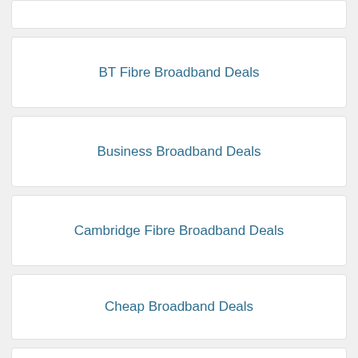BT Fibre Broadband Deals
Business Broadband Deals
Cambridge Fibre Broadband Deals
Cheap Broadband Deals
Cityfibre Fibre Broadband Deals